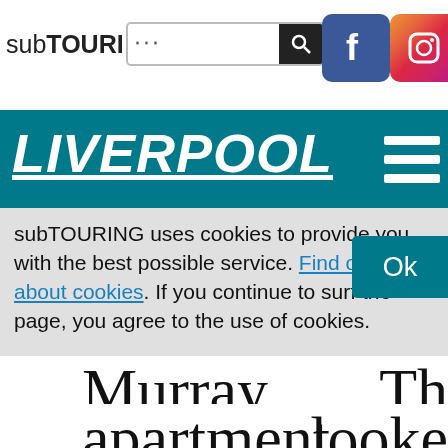subTOURING [search bar]
[Figure (logo): Facebook logo icon (blue square with white f)]
[Figure (logo): Instagram logo icon (gradient square)]
LIVERPOOL
subTOURING uses cookies to provide you with the best possible service. Find out more about cookies. If you continue to surf the page, you agree to the use of cookies.
Ok
Murray.
Th
apartment
looke
li